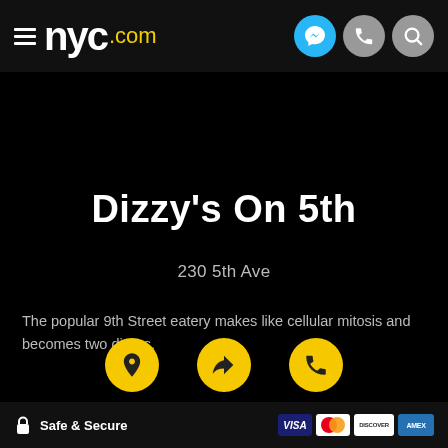nyc.com header with logo and navigation icons
Dizzy's On 5th
230 5th Ave
The popular 9th Street eatery makes like cellular mitosis and becomes two diners.
[Figure (infographic): Three yellow circle icons: location pin, share/directions arrow, phone]
Safe & Secure — Visa, Mastercard, Discover, American Express payment icons